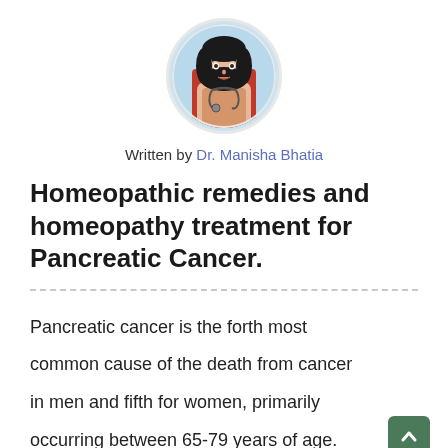[Figure (photo): Circular profile photo of Dr. Manisha Bhatia, a female doctor with dark hair, wearing a stethoscope, against a light blue background.]
Written by Dr. Manisha Bhatia
Homeopathic remedies and homeopathy treatment for Pancreatic Cancer.
Pancreatic cancer is the forth most common cause of the death from cancer in men and fifth for women, primarily occurring between 65-79 years of age. Nearly all pancreatic cancers are prima